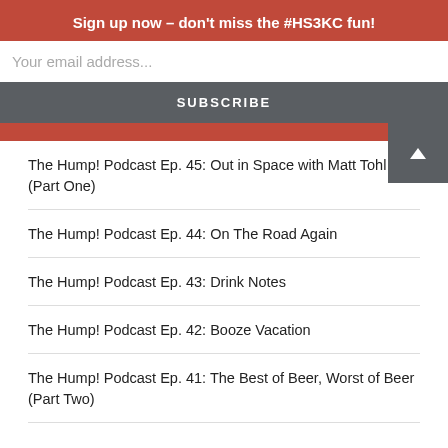Sign up now – don't miss the #HS3KC fun!
Your email address...
SUBSCRIBE
The Hump! Podcast Ep. 45: Out in Space with Matt Tohl (Part One)
The Hump! Podcast Ep. 44: On The Road Again
The Hump! Podcast Ep. 43: Drink Notes
The Hump! Podcast Ep. 42: Booze Vacation
The Hump! Podcast Ep. 41: The Best of Beer, Worst of Beer (Part Two)